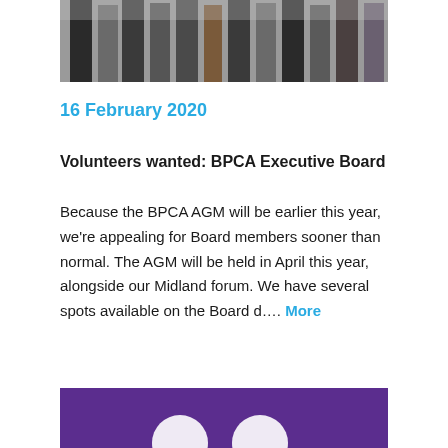[Figure (photo): Group photo of people standing together, cropped to show lower bodies/legs]
16 February 2020
Volunteers wanted: BPCA Executive Board
Because the BPCA AGM will be earlier this year, we're appealing for Board members sooner than normal. The AGM will be held in April this year, alongside our Midland forum. We have several spots available on the Board d…. More
[Figure (photo): Bottom image with purple background, partially visible]